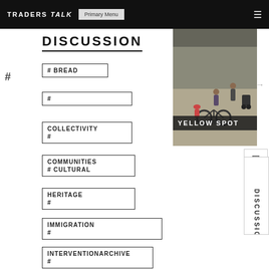TRADERS TALK | Primary Menu
DISCUSSION
# BREAD
#
COLLECTIVITY #
COMMUNITIES # CULTURAL
HERITAGE #
IMMIGRATION #
INTERVENTIONARCHIVE #
MEDIATIONS #
MULTICULTURALITY #
[Figure (photo): Street scene showing people with a bicycle, viewed from above]
YELLOW SPOT